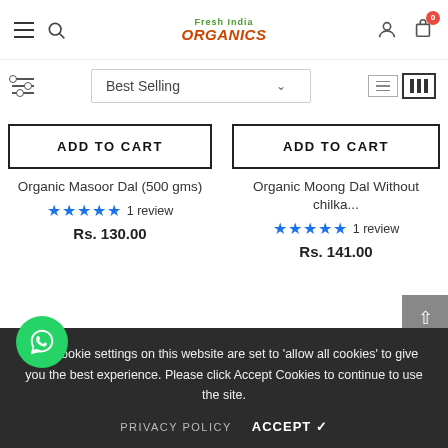Fresh India Organics - navigation header with hamburger menu, search, logo, user icon, cart (0)
Best Selling
ADD TO CART
ADD TO CART
Organic Masoor Dal (500 gms)
1 review
Rs. 130.00
Organic Moong Dal Without chilka...
1 review
Rs. 141.00
Sold Out
The cookie settings on this website are set to 'allow all cookies' to give you the best experience. Please click Accept Cookies to continue to use the site.
PRIVACY POLICY    ACCEPT ✓